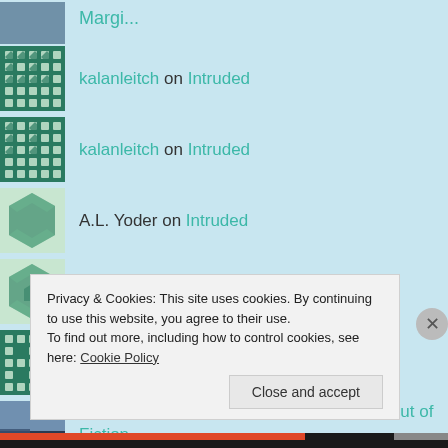Margi... (avatar, truncated)
kalanleitch on Intruded
kalanleitch on Intruded
A.L. Yoder on Intruded
Anonymous on Intruded
kalanleitch on Intruded
Center of the Subcul... on Our Freedoms out of Fiction
Privacy & Cookies: This site uses cookies. By continuing to use this website, you agree to their use. To find out more, including how to control cookies, see here: Cookie Policy
Close and accept